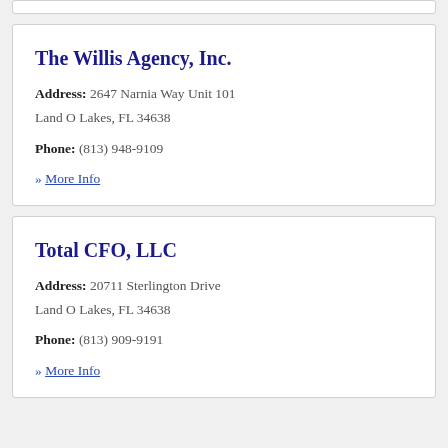The Willis Agency, Inc.
Address: 2647 Narnia Way Unit 101 Land O Lakes, FL 34638
Phone: (813) 948-9109
» More Info
Total CFO, LLC
Address: 20711 Sterlington Drive Land O Lakes, FL 34638
Phone: (813) 909-9191
» More Info